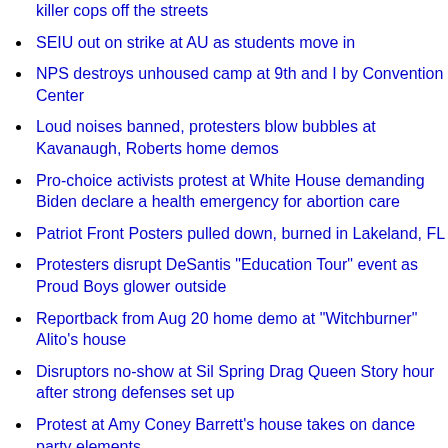killer cops off the streets
SEIU out on strike at AU as students move in
NPS destroys unhoused camp at 9th and I by Convention Center
Loud noises banned, protesters blow bubbles at Kavanaugh, Roberts home demos
Pro-choice activists protest at White House demanding Biden declare a health emergency for abortion care
Patriot Front Posters pulled down, burned in Lakeland, FL
Protesters disrupt DeSantis "Education Tour" event as Proud Boys glower outside
Reportback from Aug 20 home demo at "Witchburner" Alito's house
Disruptors no-show at Sil Spring Drag Queen Story hour after strong defenses set up
Protest at Amy Coney Barrett's house takes on dance party elements